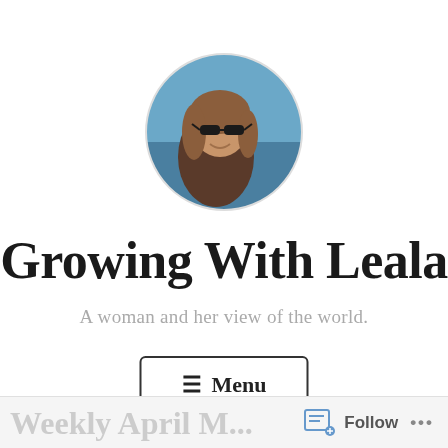[Figure (photo): Circular profile photo of a woman wearing sunglasses outdoors near water, with boats visible in the background]
Growing With Leala
A woman and her view of the world.
≡ Menu
Follow ...